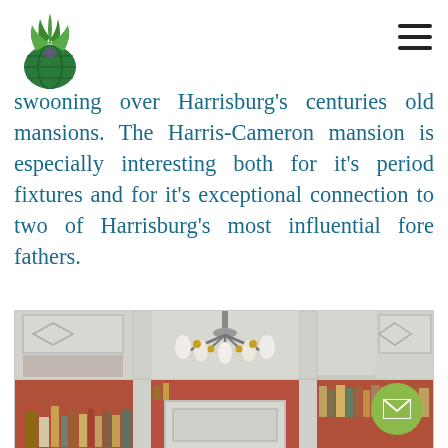[Logo] [Hamburger menu icon]
swooning over Harrisburg's centuries old mansions. The Harris-Cameron mansion is especially interesting both for it's period fixtures and for it's exceptional connection to two of Harrisburg's most influential fore fathers.
[Figure (photo): Interior photo of the Harris-Cameron mansion showing a decorative chandelier with multiple light bulbs hanging from a ceiling, white wainscoting wall panels with diamond shapes, and built-in bookshelves filled with books against a terracotta/orange-red backdrop.]